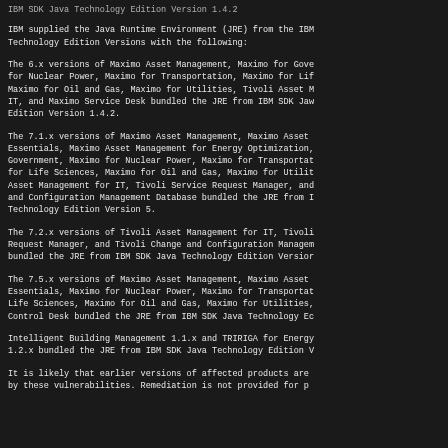IBM SDK Java Technology Edition Version 1.4.2
IBM supplied the Java Runtime Environment (JRE) from the IBM SDK Java Technology Edition Versions with the following:
The 6.x versions of Maximo Asset Management, Maximo for Government, Maximo for Nuclear Power, Maximo for Transportation, Maximo for Life Sciences, Maximo for Oil and Gas, Maximo for Utilities, Tivoli Asset Management for IT, and Maximo Service Desk bundled the JRE from IBM SDK Java Technology Edition Version 1.4.2.
The 7.1.x versions of Maximo Asset Management, Maximo Asset Management Essentials, Maximo Asset Management for Energy Optimization, Maximo for Government, Maximo for Nuclear Power, Maximo for Transportation, Maximo for Life Sciences, Maximo for Oil and Gas, Maximo for Utilities, Tivoli Asset Management for IT, Tivoli Service Request Manager, and Tivoli Change and Configuration Management Database bundled the JRE from IBM SDK Java Technology Edition Version 5.
The 7.2.x versions of Tivoli Asset Management for IT, Tivoli Service Request Manager, and Tivoli Change and Configuration Management Database bundled the JRE from IBM SDK Java Technology Edition Version
The 7.5.x versions of Maximo Asset Management, Maximo Asset Management Essentials, Maximo for Nuclear Power, Maximo for Transportation, Maximo for Life Sciences, Maximo for Oil and Gas, Maximo for Utilities, and Control Desk bundled the JRE from IBM SDK Java Technology Edition
Intelligent Building Management 1.1.x and TRIRIGA for Energy 1.2.x bundled the JRE from IBM SDK Java Technology Edition V
It is likely that earlier versions of affected products are affected by these vulnerabilities. Remediation is not provided for